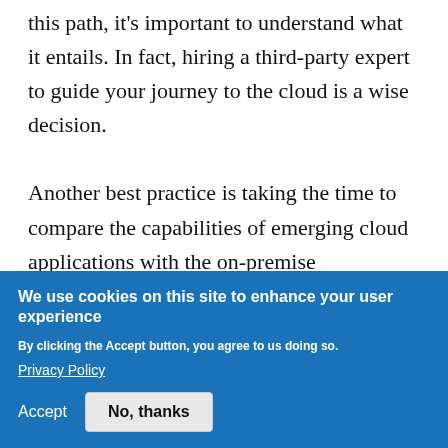this path, it's important to understand what it entails. In fact, hiring a third-party expert to guide your journey to the cloud is a wise decision.

Another best practice is taking the time to compare the capabilities of emerging cloud applications with the on-premise
We use cookies on this site to enhance your user experience
By clicking the Accept button, you agree to us doing so.
Privacy Policy
Accept
No, thanks